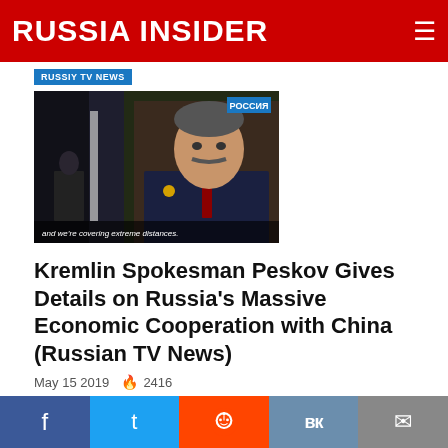RUSSIA INSIDER
RUSSIY TV NEWS
[Figure (screenshot): Video thumbnail showing a man in a suit being interviewed on Russian TV (Россия channel). Subtitle reads: 'and we're covering extreme distances.']
Kremlin Spokesman Peskov Gives Details on Russia's Massive Economic Cooperation with China (Russian TV News)
May 15 2019  🔥 2416
RUSSIAN TV NEWS
[Figure (screenshot): Partial video thumbnail from Россия channel showing a military hat with red star, partially visible.]
Facebook  Twitter  Reddit  VK  Email